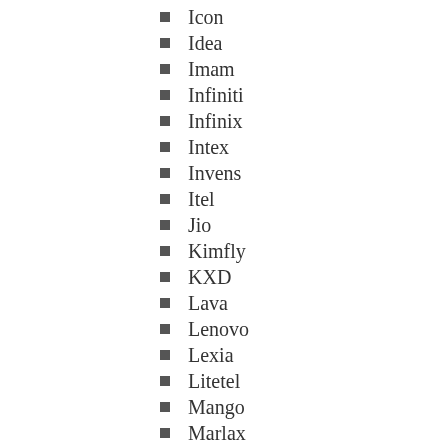Icon
Idea
Imam
Infiniti
Infinix
Intex
Invens
Itel
Jio
Kimfly
KXD
Lava
Lenovo
Lexia
Litetel
Mango
Marlax